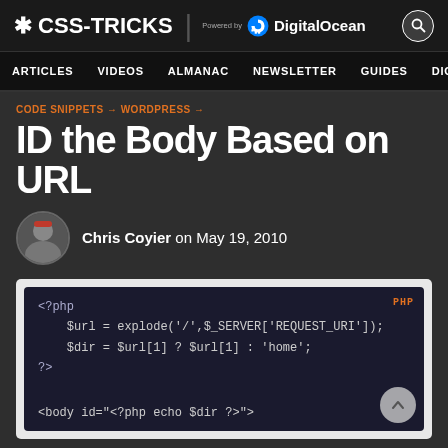* CSS-TRICKS | Powered by DigitalOcean
ARTICLES  VIDEOS  ALMANAC  NEWSLETTER  GUIDES  DIGITALOCEAN
CODE SNIPPETS → WORDPRESS →
ID the Body Based on URL
Chris Coyier on May 19, 2010
[Figure (screenshot): PHP code block showing: <?php $url = explode('/',$_SERVER['REQUEST_URI']); $dir = $url[1] ? $url[1] : 'home'; ?> followed by <body id="<?php echo $dir ?>">]